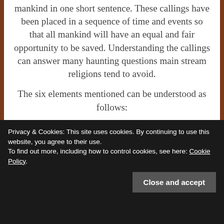mankind in one short sentence. These callings have been placed in a sequence of time and events so that all mankind will have an equal and fair opportunity to be saved. Understanding the callings can answer many haunting questions main stream religions tend to avoid.
The six elements mentioned can be understood as follows:
1. Leaven represents the Holy Spirit.
Privacy & Cookies: This site uses cookies. By continuing to use this website, you agree to their use. To find out more, including how to control cookies, see here: Cookie Policy.
4. The meal represents people: